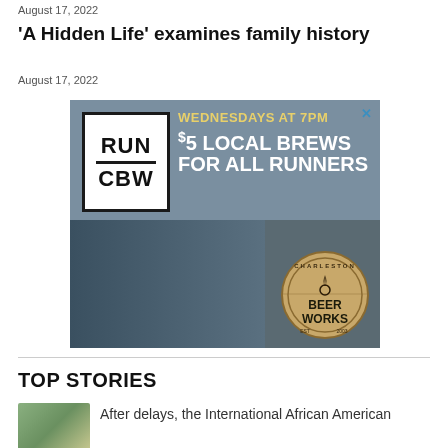August 17, 2022
‘A Hidden Life’ examines family history
August 17, 2022
[Figure (photo): Advertisement for Run CBW (Charleston Beer Works) featuring a group of runners. Top half shows gray background with RUN CBW logo box on left and text 'WEDNESDAYS AT 7PM $5 LOCAL BREWS FOR ALL RUNNERS' on right with an X close button. Bottom half shows a group photo of runners outside Charleston Beer Works with the brewery's circular logo on the right.]
TOP STORIES
After delays, the International African American